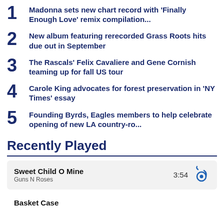1 Madonna sets new chart record with 'Finally Enough Love' remix compilation...
2 New album featuring rerecorded Grass Roots hits due out in September
3 The Rascals' Felix Cavaliere and Gene Cornish teaming up for fall US tour
4 Carole King advocates for forest preservation in 'NY Times' essay
5 Founding Byrds, Eagles members to help celebrate opening of new LA country-ro...
Recently Played
Sweet Child O Mine
Guns N Roses
3:54
Basket Case